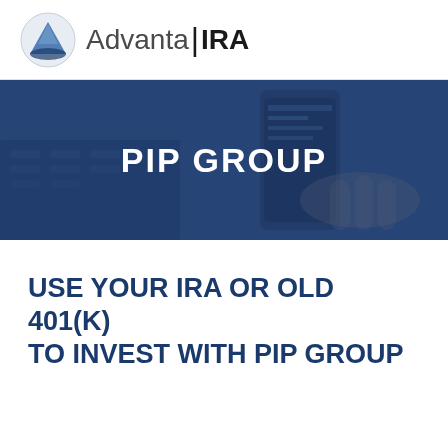[Figure (logo): Advanta IRA logo with triangle/diamond icon on left and 'Advanta|IRA' text on right]
[Figure (photo): Banner image showing hands holding a smartphone with financial data, overlaid with dark blue tint and 'PIP GROUP' text in white bold]
USE YOUR IRA OR OLD 401(K) TO INVEST WITH PIP GROUP